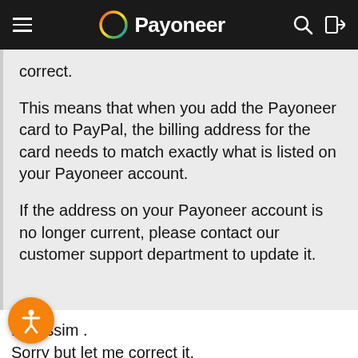Payoneer
correct.
This means that when you add the Payoneer card to PayPal, the billing address for the card needs to match exactly what is listed on your Payoneer account.
If the address on your Payoneer account is no longer current, please contact our customer support department to update it.
Hi Nissim .
Sorry but let me correct it,
i linked my payoneer card and verified my Paypal account.
My Address on paypal is different than